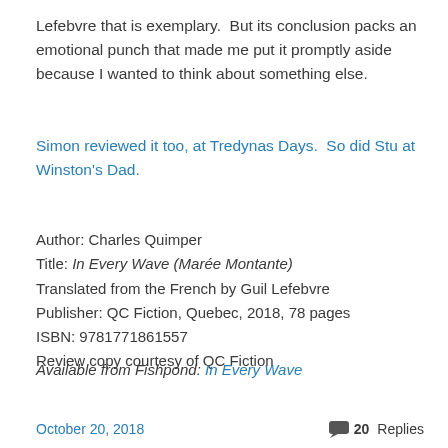Lefebvre that is exemplary.  But its conclusion packs an emotional punch that made me put it promptly aside because I wanted to think about something else.
Simon reviewed it too, at Tredynas Days. So did Stu at Winston's Dad.
Author: Charles Quimper
Title: In Every Wave (Marée Montante)
Translated from the French by Guil Lefebvre
Publisher: QC Fiction, Quebec, 2018, 78 pages
ISBN: 9781771861557
Review copy courtesy of QC Fiction
Available from Fishpond: In Every Wave
October 20, 2018  20 Replies